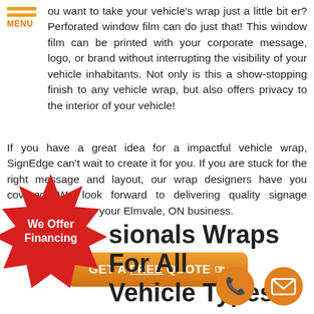[Figure (other): Orange hamburger menu icon with three horizontal bars and MENU label]
ou want to take your vehicle's wrap just a little bit er? Perforated window film can do just that! This window film can be printed with your corporate message, logo, or brand without interrupting the visibility of your vehicle inhabitants. Not only is this a show-stopping finish to any vehicle wrap, but also offers privacy to the interior of your vehicle!
If you have a great idea for a impactful vehicle wrap, SignEdge can't wait to create it for you. If you are stuck for the right message and layout, our wrap designers have you covered. We look forward to delivering quality signage products that grow your Elmvale, ON business.
[Figure (other): Orange rounded rectangle button with white bold text: GET A FREE QUOTE with pointing hand emoji]
[Figure (other): Red starburst badge with white text: We Offer Financing]
sionals Wraps For All Vehicle Types
[Figure (other): Orange circle with white phone handset icon]
[Figure (other): Orange circle with white envelope/email icon]